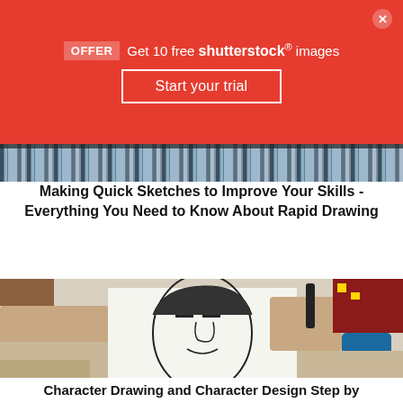[Figure (screenshot): Red Shutterstock promotional banner with OFFER badge, 'Get 10 free shutterstock images' text, 'Start your trial' button, and a close X button]
[Figure (photo): Narrow strip showing pencils/colored pencils arranged on a surface]
Making Quick Sketches to Improve Your Skills - Everything You Need to Know About Rapid Drawing
[Figure (photo): Overhead photo of two hands drawing a caricature/cartoon face of a man with a marker pen on white paper, on a desk with a notebook, decorative fabric, and phone]
Character Drawing and Character Design Step by